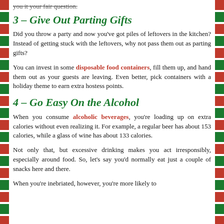you it your fair question.
3 – Give Out Parting Gifts
Did you throw a party and now you've got piles of leftovers in the kitchen? Instead of getting stuck with the leftovers, why not pass them out as parting gifts?
You can invest in some disposable food containers, fill them up, and hand them out as your guests are leaving. Even better, pick containers with a holiday theme to earn extra hostess points.
4 – Go Easy On the Alcohol
When you consume alcoholic beverages, you're loading up on extra calories without even realizing it. For example, a regular beer has about 153 calories, while a glass of wine has about 133 calories.
Not only that, but excessive drinking makes you act irresponsibly, especially around food. So, let's say you'd normally eat just a couple of snacks here and there.
When you're inebriated, however, you're more likely to